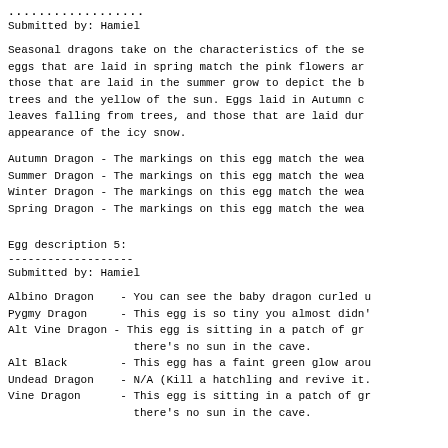..................
Submitted by: Hamiel
Seasonal dragons take on the characteristics of the se eggs that are laid in spring match the pink flowers ar those that are laid in the summer grow to depict the b trees and the yellow of the sun. Eggs laid in Autumn c leaves falling from trees, and those that are laid dur appearance of the icy snow.
Autumn Dragon - The markings on this egg match the wea
Summer Dragon - The markings on this egg match the wea
Winter Dragon - The markings on this egg match the wea
Spring Dragon - The markings on this egg match the wea
Egg description 5:
-------------------
Submitted by: Hamiel
Albino Dragon    - You can see the baby dragon curled u
Pygmy Dragon     - This egg is so tiny you almost didn'
Alt Vine Dragon  - This egg is sitting in a patch of gr there's no sun in the cave.
Alt Black        - This egg has a faint green glow arou
Undead Dragon    - N/A (Kill a hatchling and revive it.
Vine Dragon      - This egg is sitting in a patch of gr there's no sun in the cave.